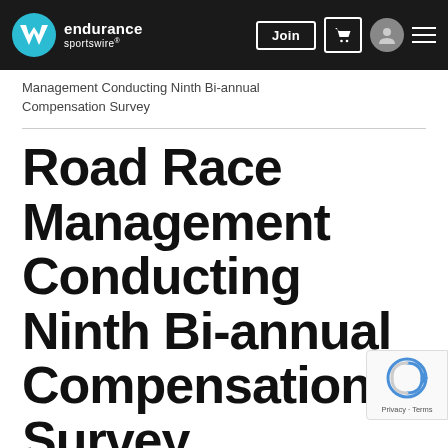endurance sportswire — navigation bar with Join button, cart, user icon, menu
Management Conducting Ninth Bi-annual Compensation Survey
Road Race Management Conducting Ninth Bi-annual Compensation Survey
December 9, 2021
Survey Has Tracked Compensation